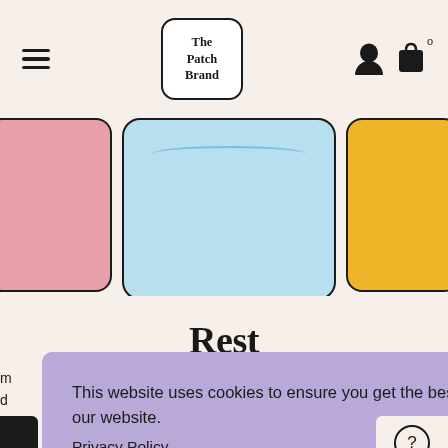The Patch Brand — navigation bar with hamburger menu, logo, user icon, bag icon
[Figure (photo): Three product card images in a horizontal strip: pink card on left (partially visible), blue card in center with water/pool background, yellow card on right (partially visible)]
Rest
This website uses cookies to ensure you get the best experience on our website.
Privacy Policy
Preferences
Accept